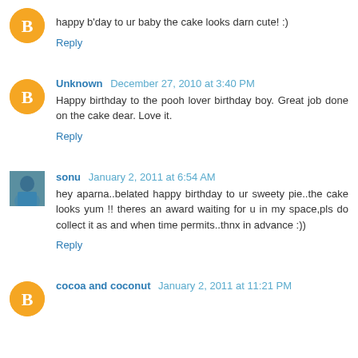happy b'day to ur baby the cake looks darn cute! :)
Reply
Unknown December 27, 2010 at 3:40 PM
Happy birthday to the pooh lover birthday boy. Great job done on the cake dear. Love it.
Reply
sonu January 2, 2011 at 6:54 AM
hey aparna..belated happy birthday to ur sweety pie..the cake looks yum !! theres an award waiting for u in my space,pls do collect it as and when time permits..thnx in advance :))
Reply
cocoa and coconut January 2, 2011 at 11:21 PM